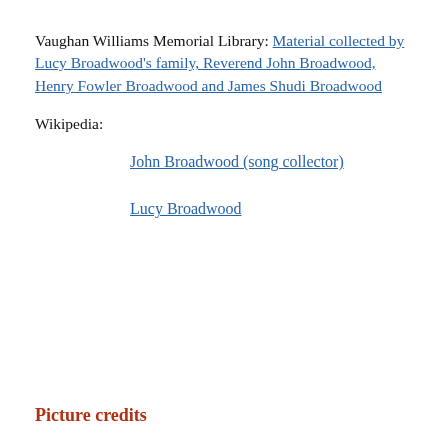Vaughan Williams Memorial Library: Material collected by Lucy Broadwood's family, Reverend John Broadwood, Henry Fowler Broadwood and James Shudi Broadwood
Wikipedia:
John Broadwood (song collector)
Lucy Broadwood
Picture credits